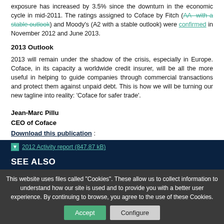exposure has increased by 3.5% since the downturn in the economic cycle in mid-2011. The ratings assigned to Coface by Fitch (AA- with a stable outlook) and Moody's (A2 with a stable outlook) were confirmed in November 2012 and June 2013.
2013 Outlook
2013 will remain under the shadow of the crisis, especially in Europe. Coface, in its capacity a worldwide credit insurer, will be all the more useful in helping to guide companies through commercial transactions and protect them against unpaid debt. This is how we will be turning our new tagline into reality: 'Coface for safer trade'.
Jean-Marc Pillu
CEO of Coface
Download this publication : 2012 Activity report (847.87 kB)
SEE ALSO
This website uses files called "Cookies". These allow us to collect information to understand how our site is used and to provide you with a better user experience. By continuing to browse, you agree to the use of these Cookies.